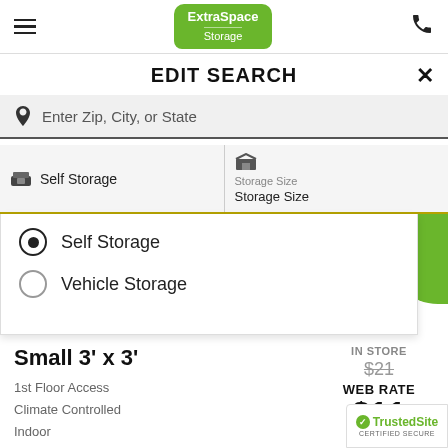[Figure (logo): Extra Space Storage logo - green badge shape with white text]
EDIT SEARCH
Enter Zip, City, or State
Self Storage
Storage Size / Storage Size
Self Storage (selected radio button)
Vehicle Storage
Small 3' x 3'
1st Floor Access
Climate Controlled
Indoor
Reduced Height
IN STORE
$21
WEB RATE
$11
[Figure (logo): TrustedSite certified secure badge]